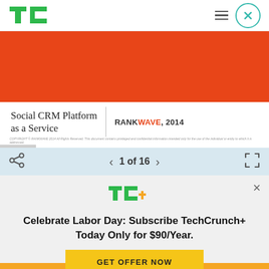TechCrunch navigation bar with TC logo, hamburger menu icon, and close circle icon
[Figure (screenshot): Slide preview showing orange background area and Social CRM Platform as a Service with RANKWAVE 2014 branding, copyright notice at bottom]
1 of 16
Celebrate Labor Day: Subscribe TechCrunch+ Today Only for $90/Year.
GET OFFER NOW